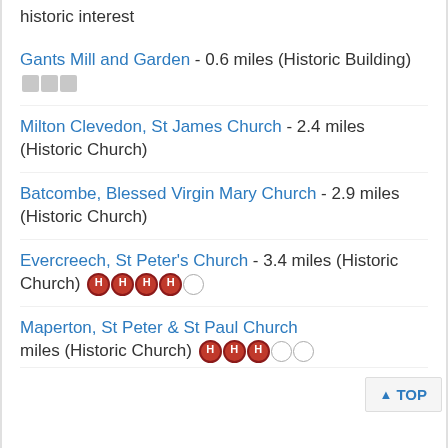historic interest
Gants Mill and Garden - 0.6 miles (Historic Building) [rating: 3 gray squares]
Milton Clevedon, St James Church - 2.4 miles (Historic Church)
Batcombe, Blessed Virgin Mary Church - 2.9 miles (Historic Church)
Evercreech, St Peter's Church - 3.4 miles (Historic Church) [rating: 4H + 1 empty]
Maperton, St Peter & St Paul Church ... miles (Historic Church) [rating: 3H + 2 empty]